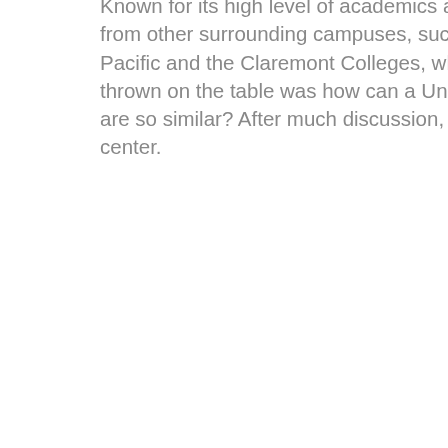Known for its high level of academics and small classes, the University looks to set itself apart from other surrounding campuses, such as the University of Redlands, Cal Lutheran, Azusa Pacific and the Claremont Colleges, whose curriculums are similar to ULV's. The main question thrown on the table was how can a University standout from other competing colleges if they are so similar? After much discussion, the answer was easy—a new state of the art campus center.
Running with the idea, the committee started to come up with potential designs for the center and all the elements it could house. Originally estimated to be 63,000 sq. ft., the planners aimed to move the bookstore into the center as well as a performance theater, ticket booth, internet lounge, copy center and enrollment services. Going along with thinking big, a credit union, fitness center, travel agency and art gallery